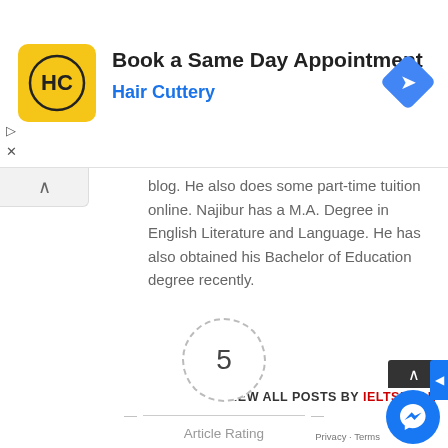[Figure (screenshot): Hair Cuttery advertisement banner with logo, 'Book a Same Day Appointment' title, 'Hair Cuttery' subtitle in blue, and a blue navigation arrow icon on the right.]
blog. He also does some part-time tuition online. Najibur has a M.A. Degree in English Literature and Language. He has also obtained his Bachelor of Education degree recently.
VIEW ALL POSTS BY IELTSDEAL
[Figure (other): Article rating widget showing number 5 in a dashed circle, dashes on either side, 'Article Rating' label, and five gold stars below.]
[Figure (other): Messenger chat button (blue circle with white lightning bolt icon) and dark scroll-up button in the bottom right corner.]